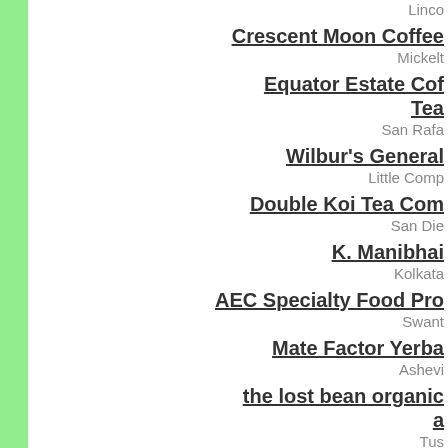Crescent Moon Coffee
Mickelt
Equator Estate Coffees & Tea
San Rafa
Wilbur's General
Little Comp
Double Koi Tea Com
San Die
K. Manibhai
Kolkata
AEC Specialty Food Pro
Swant
Mate Factor Yerba
Ashevi
the lost bean organic a
Tus
Boston Tea Campaign
Medfield
A&E Custom Coffee Ro
Ambe